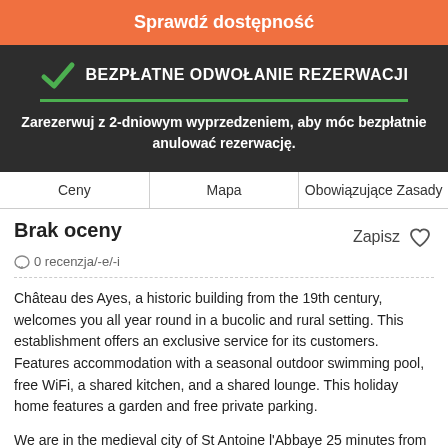Sprawdź dostępność
BEZPŁATNE ODWOŁANIE REZERWACJI
Zarezerwuj z 2-dniowym wyprzedzeniem, aby móc bezpłatnie anulować rezerwację.
Ceny | Mapa | Obowiązujące Zasady
Brak oceny
0 recenzja/-e/-i
Zapisz
Château des Ayes, a historic building from the 19th century, welcomes you all year round in a bucolic and rural setting. This establishment offers an exclusive service for its customers. Features accommodation with a seasonal outdoor swimming pool, free WiFi, a shared kitchen, and a shared lounge. This holiday home features a garden and free private parking.
We are in the medieval city of St Antoine l'Abbaye 25 minutes from the Castle. Discover the cellars of the Charterhouse 25 minutes as well. Grenoble is 40 km from Charterhouse's automobile. Romanin is 40 km.